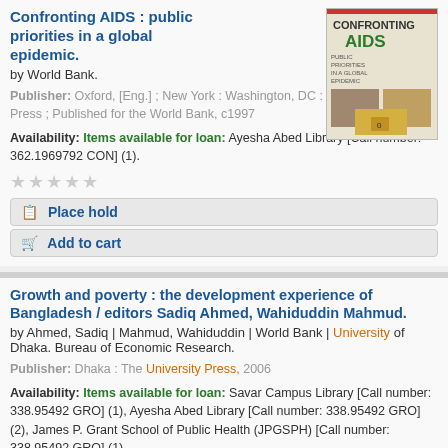Confronting AIDS : public priorities in a global epidemic.
by World Bank.
Publisher: Oxford, [Eng.] ; New York : Washington, DC : Oxford University Press ; Published for the World Bank, c1997
Availability: Items available for loan: Ayesha Abed Library [Call number: 362.1969792 CON] (1).
[Figure (photo): Book cover of Confronting AIDS showing the title and imagery]
Growth and poverty : the development experience of Bangladesh / editors Sadiq Ahmed, Wahiduddin Mahmud.
by Ahmed, Sadiq | Mahmud, Wahiduddin | World Bank | University of Dhaka. Bureau of Economic Research.
Publisher: Dhaka : The University Press, 2006
Availability: Items available for loan: Savar Campus Library [Call number: 338.95492 GRO] (1), Ayesha Abed Library [Call number: 338.95492 GRO] (2), James P. Grant School of Public Health (JPGSPH) [Call number: 338.95492 GRO] (1).